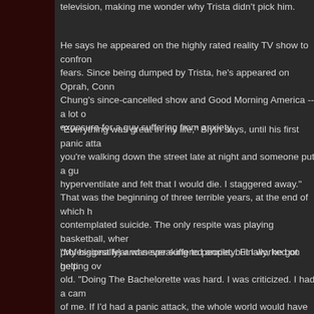television, making me wonder why Trista didn't pick him.
He says he appeared on the highly rated reality TV show to confront fears. Since being dumped by Trista, he's appeared on Oprah, Connie Chung's since-cancelled show and Good Morning America -- a lot of exposure for a guy suffering from anxiety.
"Everything was great in my life," Blyth says, until his first panic attack. you're walking down the street late at night and someone puts a gun hyperventilate and felt that I would die. I staggered away."
That was the beginning of three terrible years, at the end of which he contemplated suicide. The only respite was playing basketball, where (professionally) and never suffered anxiety. Finally, he got help.
"My biggest fear was speaking to people, but I worked on getting over old. "Doing The Bachelorette was hard. I was criticized. I had a camera of me. If I'd had a panic attack, the whole world would have seen it." at the age of 22, "I'd be in a mental hospital." But he's much better now. "I never cry, except when Trista dumped me."
Blyth tells me the show involved 900 hours of video condensed to just was why fellow contestant Russ was panned by the audience. "They bad, but he's really not that bad," Blyth says. "Someone had to be the
Blyth came across as likeable because he became friends with the contestants. good thing to remember. He's happy about The Bachelorette experience. have a vision," he says. "If you want to go somewhere, do something attainable goals and keep raising the bar. The terror will subside.
"Panic is the best thing that ever happened to me," he insists. "It th